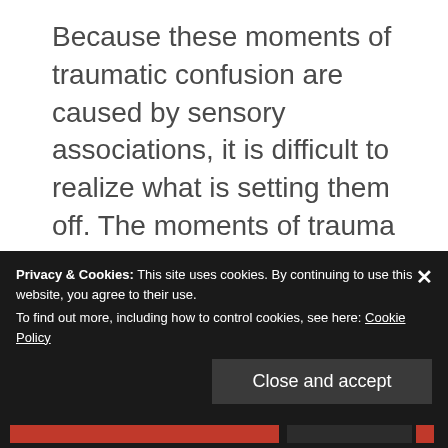Because these moments of traumatic confusion are caused by sensory associations, it is difficult to realize what is setting them off. The moments of trauma cause people to focus on the sensory input that they were experiencing, so whatever they focused on, the pattern of the wall paper, the smell of the breath, the
Privacy & Cookies: This site uses cookies. By continuing to use this website, you agree to their use.
To find out more, including how to control cookies, see here: Cookie Policy
Close and accept